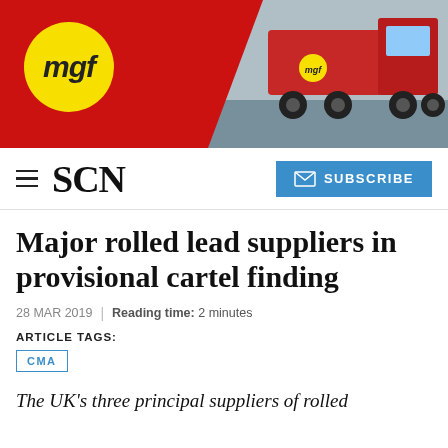[Figure (photo): MGF company banner with red background, yellow circle MGF logo on left, and photo of red trucks on right]
SCN | SUBSCRIBE
Major rolled lead suppliers in provisional cartel finding
28 MAR 2019 | Reading time: 2 minutes
ARTICLE TAGS:
CMA
The UK's three principal suppliers of rolled